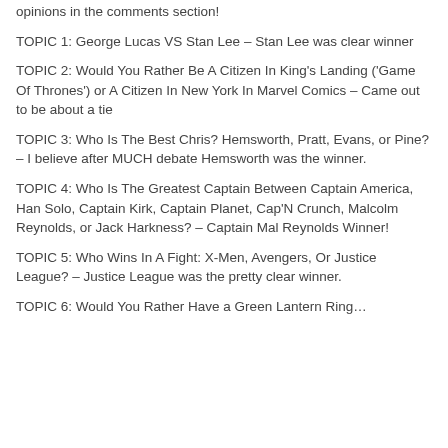opinions in the comments section!
TOPIC 1: George Lucas VS Stan Lee – Stan Lee was clear winner
TOPIC 2: Would You Rather Be A Citizen In King's Landing ('Game Of Thrones') or A Citizen In New York In Marvel Comics – Came out to be about a tie
TOPIC 3: Who Is The Best Chris? Hemsworth, Pratt, Evans, or Pine? – I believe after MUCH debate Hemsworth was the winner.
TOPIC 4: Who Is The Greatest Captain Between Captain America, Han Solo, Captain Kirk, Captain Planet, Cap'N Crunch, Malcolm Reynolds, or Jack Harkness? – Captain Mal Reynolds Winner!
TOPIC 5: Who Wins In A Fight: X-Men, Avengers, Or Justice League? – Justice League was the pretty clear winner.
TOPIC 6: Would You Rather Have a Green Lantern Ring…